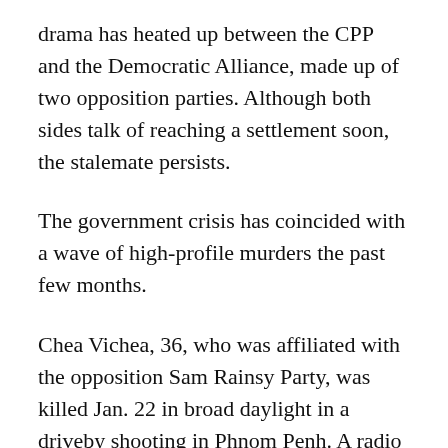drama has heated up between the CPP and the Democratic Alliance, made up of two opposition parties. Although both sides talk of reaching a settlement soon, the stalemate persists.
The government crisis has coincided with a wave of high-profile murders the past few months.
Chea Vichea, 36, who was affiliated with the opposition Sam Rainsy Party, was killed Jan. 22 in broad daylight in a driveby shooting in Phnom Penh. A radio journalist, a famous actress, and her mother – all associated with the Democratic Alliance – were gunned down in a similar fashion.
Human rights workers and opposition leaders